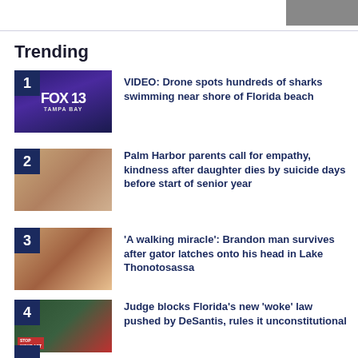[Figure (photo): Partial image visible at top right corner]
Trending
VIDEO: Drone spots hundreds of sharks swimming near shore of Florida beach
Palm Harbor parents call for empathy, kindness after daughter dies by suicide days before start of senior year
'A walking miracle': Brandon man survives after gator latches onto his head in Lake Thonotosassa
Judge blocks Florida's new 'woke' law pushed by DeSantis, rules it unconstitutional